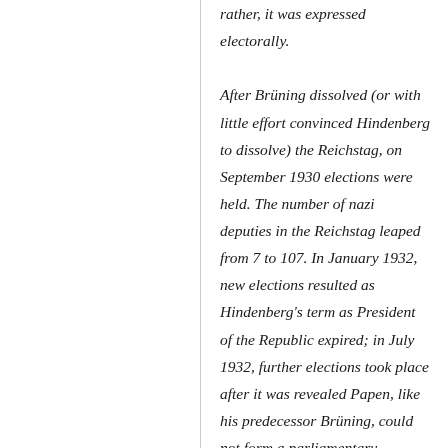rather, it was expressed electorally. After Brüning dissolved (or with little effort convinced Hindenberg to dissolve) the Reichstag, on September 1930 elections were held. The number of nazi deputies in the Reichstag leaped from 7 to 107. In January 1932, new elections resulted as Hindenberg's term as President of the Republic expired; in July 1932, further elections took place after it was revealed Papen, like his predecessor Brüning, could not form a parliamentary